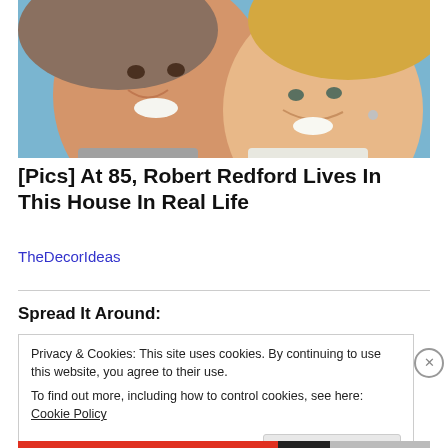[Figure (photo): Close-up photo of an older man and woman smiling cheek to cheek against a blue background]
[Pics] At 85, Robert Redford Lives In This House In Real Life
TheDecorIdeas
Spread It Around:
Privacy & Cookies: This site uses cookies. By continuing to use this website, you agree to their use.
To find out more, including how to control cookies, see here: Cookie Policy